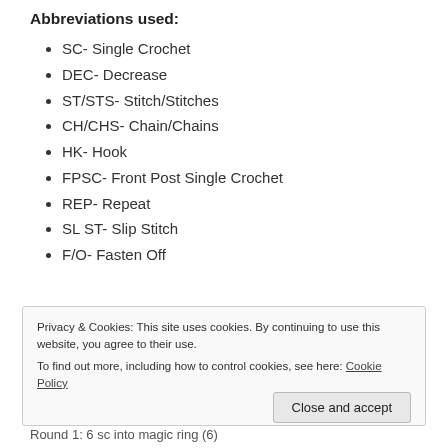Abbreviations used:
SC- Single Crochet
DEC- Decrease
ST/STS- Stitch/Stitches
CH/CHS- Chain/Chains
HK- Hook
FPSC- Front Post Single Crochet
REP- Repeat
SL ST- Slip Stitch
F/O- Fasten Off
Privacy & Cookies: This site uses cookies. By continuing to use this website, you agree to their use. To find out more, including how to control cookies, see here: Cookie Policy
Round 1: 6 sc into magic ring (6)